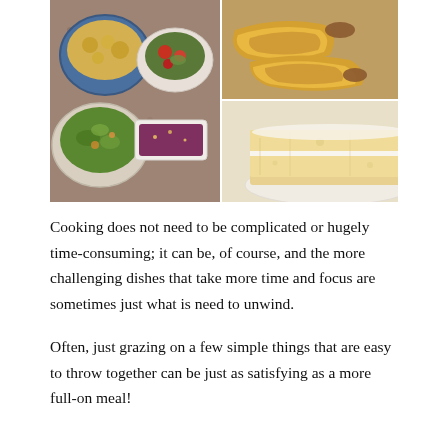[Figure (photo): A collage of four food photos: top-left shows bowls of salads and dishes on a granite surface with colorful vegetables, a purple beet dip, and various side dishes; top-right shows golden flaky sausage rolls on a woven mat; bottom-right shows a sliced layered yellow sponge cake with white cream filling on a plate.]
Cooking does not need to be complicated or hugely time-consuming; it can be, of course, and the more challenging dishes that take more time and focus are sometimes just what is need to unwind.
Often, just grazing on a few simple things that are easy to throw together can be just as satisfying as a more full-on meal!